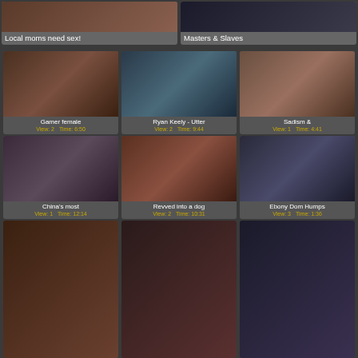[Figure (photo): Thumbnail image - Local moms need sex]
Local moms need sex!
[Figure (photo): Thumbnail image - Masters & Slaves]
Masters & Slaves
[Figure (photo): Thumbnail - Gamer female]
Gamer female
View: 2    Time: 6:50
[Figure (photo): Thumbnail - Ryan Keely - Utter]
Ryan Keely - Utter
View: 2    Time: 9:44
[Figure (photo): Thumbnail - Sadism &]
Sadism &
View: 1    Time: 4:41
[Figure (photo): Thumbnail - China's most]
China's most
View: 1    Time: 12:14
[Figure (photo): Thumbnail - Revved into a dog]
Revved into a dog
View: 2    Time: 10:31
[Figure (photo): Thumbnail - Ebony Dom Humps]
Ebony Dom Humps
View: 3    Time: 1:36
[Figure (photo): Bottom row thumbnail 1]
[Figure (photo): Bottom row thumbnail 2]
[Figure (photo): Bottom row thumbnail 3]